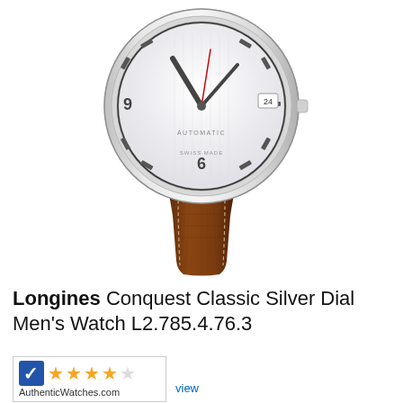[Figure (photo): Longines Conquest Classic watch with silver/white dial, silver stainless steel case, and dark brown crocodile-pattern leather strap. The watch shows an automatic movement, date window at 3 o'clock, and Arabic numerals at 6 and 9.]
Longines Conquest Classic Silver Dial Men's Watch L2.785.4.76.3
[Figure (logo): AuthenticWatches.com badge with checkmark logo and four gold stars rating, with 'AuthenticWatches.com' text below, and 'review' link to the right.]